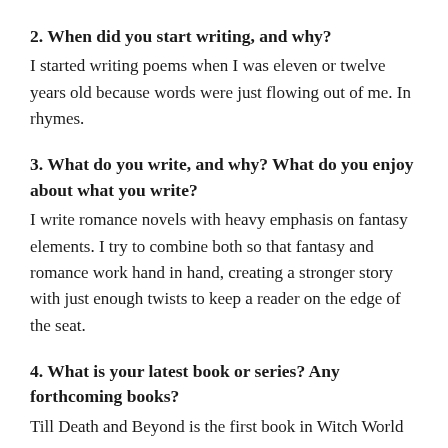2. When did you start writing, and why?
I started writing poems when I was eleven or twelve years old because words were just flowing out of me. In rhymes.
3. What do you write, and why? What do you enjoy about what you write?
I write romance novels with heavy emphasis on fantasy elements. I try to combine both so that fantasy and romance work hand in hand, creating a stronger story with just enough twists to keep a reader on the edge of the seat.
4. What is your latest book or series? Any forthcoming books?
Till Death and Beyond is the first book in Witch World